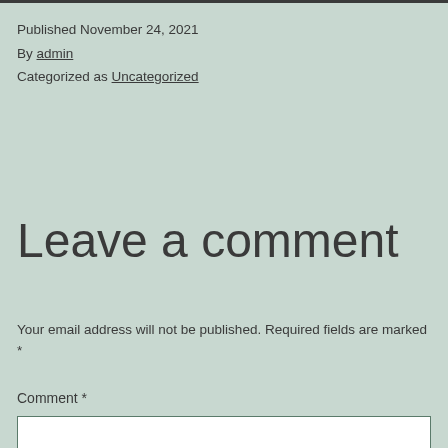Published November 24, 2021
By admin
Categorized as Uncategorized
Leave a comment
Your email address will not be published. Required fields are marked *
Comment *